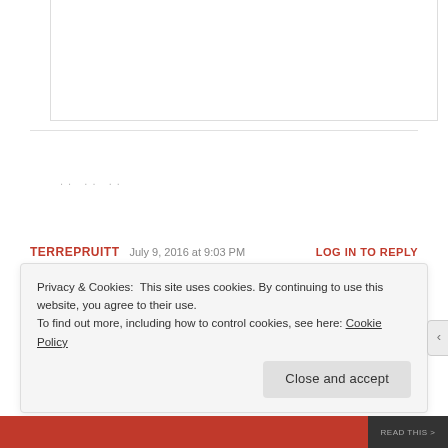[Figure (photo): Small circular avatar photo of a person at the top of the page]
★ Liked by 1 person
. . .. . .
TERREPRUITT   July 9, 2016 at 9:03 PM   LOG IN TO REPLY
[Figure (photo): Circular avatar photo of commenter with a cat]
Yup. It is so much easier for me to go to my blog for a recipe then to remember where I put the
Privacy & Cookies: This site uses cookies. By continuing to use this website, you agree to their use. To find out more, including how to control cookies, see here: Cookie Policy
Close and accept